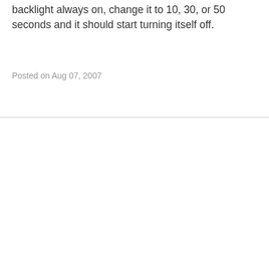backlight always on, change it to 10, 30, or 50 seconds and it should start turning itself off.
Posted on Aug 07, 2007